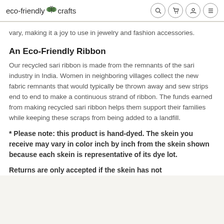eco-friendly crafts
vary, making it a joy to use in jewelry and fashion accessories.
An Eco-Friendly Ribbon
Our recycled sari ribbon is made from the remnants of the sari industry in India. Women in neighboring villages collect the new fabric remnants that would typically be thrown away and sew strips end to end to make a continuous strand of ribbon. The funds earned from making recycled sari ribbon helps them support their families while keeping these scraps from being added to a landfill.
* Please note: this product is hand-dyed. The skein you receive may vary in color inch by inch from the skein shown because each skein is representative of its dye lot.
Returns are only accepted if the skein has not been wound.